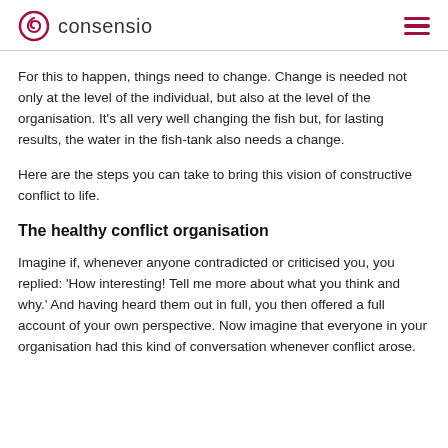consensio
For this to happen, things need to change. Change is needed not only at the level of the individual, but also at the level of the organisation. It’s all very well changing the fish but, for lasting results, the water in the fish-tank also needs a change.
Here are the steps you can take to bring this vision of constructive conflict to life.
The healthy conflict organisation
Imagine if, whenever anyone contradicted or criticised you, you replied: ‘How interesting! Tell me more about what you think and why.’ And having heard them out in full, you then offered a full account of your own perspective. Now imagine that everyone in your organisation had this kind of conversation whenever conflict arose.